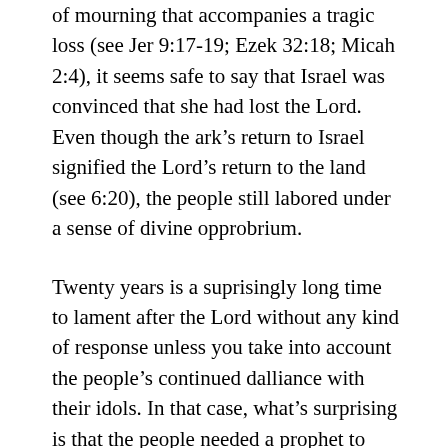of mourning that accompanies a tragic loss (see Jer 9:17-19; Ezek 32:18; Micah 2:4), it seems safe to say that Israel was convinced that she had lost the Lord. Even though the ark's return to Israel signified the Lord's return to the land (see 6:20), the people still labored under a sense of divine opprobrium.
Twenty years is a suprisingly long time to lament after the Lord without any kind of response unless you take into account the people's continued dalliance with their idols. In that case, what's surprising is that the people needed a prophet to state the obvious: remove the idols, return to the Lord, and all will be made right.